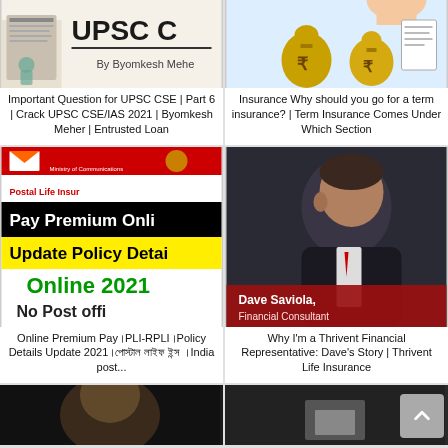[Figure (screenshot): UPSC CSE book cover with text 'UPSC C...' and 'By Byomkesh Mehe']
Important Question for UPSC CSE | Part 6 | Crack UPSC CSE/IAS 2021 | Byomkesh Meher | Entrusted Loan
[Figure (illustration): Insurance concept image with money bags and rupee symbols on blue background]
Insurance Why should you go for a term insurance? | Term Insurance Comes Under Which Section
[Figure (screenshot): India Post Postal Life Insurance banner: Pay Premium Online, Update Policy Details Online 2021, No Post offi...]
Online Premium Pay।PLI-RPLI।Policy Details Update 2021।পোস্টাল লাইফ ইন্স ।India post...
[Figure (photo): Dave Saviola, Financial Consultant - man in suit, dark background, Thrivent Life Insurance video thumbnail]
Why I'm a Thrivent Financial Representative: Dave's Story | Thrivent Life Insurance
[Figure (photo): Partially visible bottom-left image (dark, person)]
[Figure (photo): Partially visible bottom-right image (dark)]